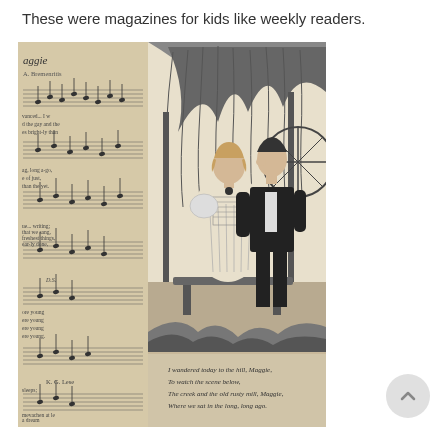These were magazines for kids like weekly readers.
[Figure (photo): Photograph of an open vintage magazine or book page showing sheet music on the left side (with text 'aggie', 'A. Bremontis', and musical notation) and a black-and-white illustration on the right of a young woman in a Victorian dress sitting next to a man in a dark suit, outdoors under willow trees. Below the illustration is a verse: 'I wandered today to the hill, Maggie, / To watch the scene below, / The creek and the old rusty mill, Maggie, / Where we sat in the long, long ago.']